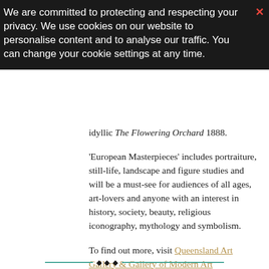We are committed to protecting and respecting your privacy. We use cookies on our website to personalise content and to analyse our traffic. You can change your cookie settings at any time.
idyllic The Flowering Orchard 1888.
'European Masterpieces' includes portraiture, still-life, landscape and figure studies and will be a must-see for audiences of all ages, art-lovers and anyone with an interest in history, society, beauty, religious iconography, mythology and symbolism.
To find out more, visit Queensland Art Gallery & Gallery of Modern Art